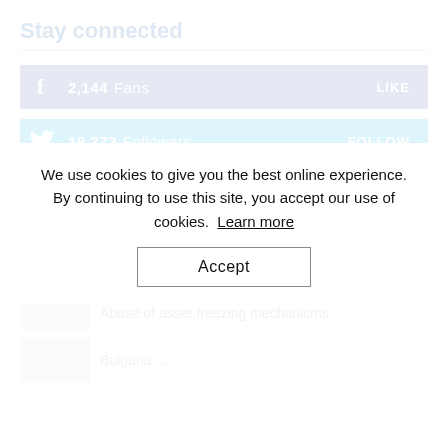Stay connected
[Figure (infographic): Facebook social bar showing 2,144 Fans with LIKE button]
[Figure (infographic): Twitter social bar showing 18,272 Followers with FOLLOW button]
Latest Reports
Turkey's Transnational Repression:
Abuse of asset freezing mechanisms
We use cookies to give you the best online experience. By continuing to use this site, you accept our use of cookies. Learn more
Accept